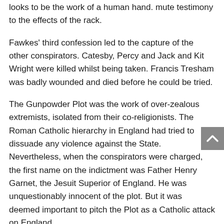looks to be the work of a human hand. mute testimony to the effects of the rack.
Fawkes' third confession led to the capture of the other conspirators. Catesby, Percy and Jack and Kit Wright were killed whilst being taken. Francis Tresham was badly wounded and died before he could be tried.
The Gunpowder Plot was the work of over-zealous extremists, isolated from their co-religionists. The Roman Catholic hierarchy in England had tried to dissuade any violence against the State. Nevertheless, when the conspirators were charged, the first name on the indictment was Father Henry Garnet, the Jesuit Superior of England. He was unquestionably innocent of the plot. But it was deemed important to pitch the Plot as a Catholic attack on England.
Those conspirators who had survived were tried on 27 January 1606 and were sentenced to be hung, drawn and quartered. Henry Garnet, who was not captured